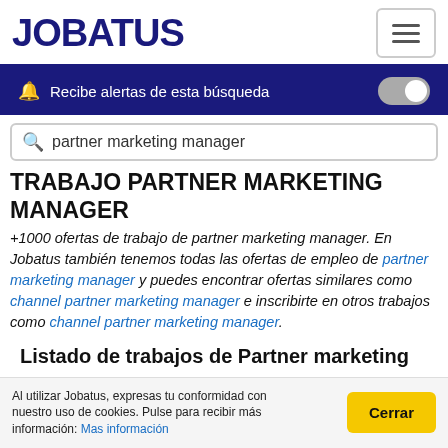JOBATUS
Recibe alertas de esta búsqueda
partner marketing manager
TRABAJO PARTNER MARKETING MANAGER
+1000 ofertas de trabajo de partner marketing manager. En Jobatus también tenemos todas las ofertas de empleo de partner marketing manager y puedes encontrar ofertas similares como channel partner marketing manager e inscribirte en otros trabajos como channel partner marketing manager.
Listado de trabajos de Partner marketing manager
Al utilizar Jobatus, expresas tu conformidad con nuestro uso de cookies. Pulse para recibir más información: Mas información